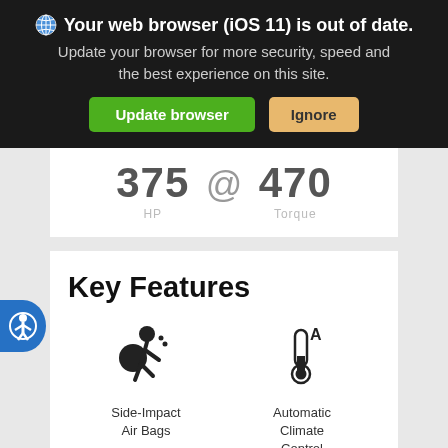Your web browser (iOS 11) is out of date. Update your browser for more security, speed and the best experience on this site.
375 @ 470 HP Torque
Key Features
[Figure (illustration): Side-Impact Air Bags icon - person with airbag deploying]
Side-Impact Air Bags
[Figure (illustration): Automatic Climate Control icon - thermometer with letter A]
Automatic Climate Control